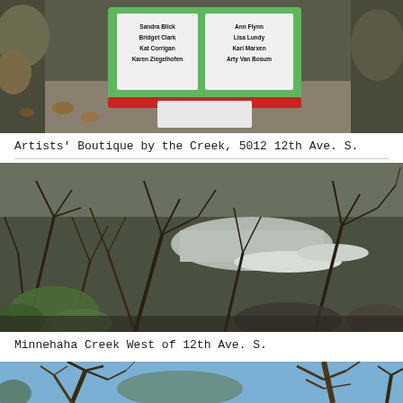[Figure (photo): Photo of a green sign for Artists Boutique by the Creek, showing artist names, placed on a gravel path with fallen leaves and foliage in the background.]
Artists' Boutique by the Creek, 5012 12th Ave. S.
[Figure (photo): Photo of Minnehaha Creek viewed through dense bare winter trees and brush, with water and snowy/icy banks visible through the tangled branches.]
Minnehaha Creek West of 12th Ave. S.
[Figure (photo): Partial photo of bare trees against a blue sky, cropped at the bottom of the page.]